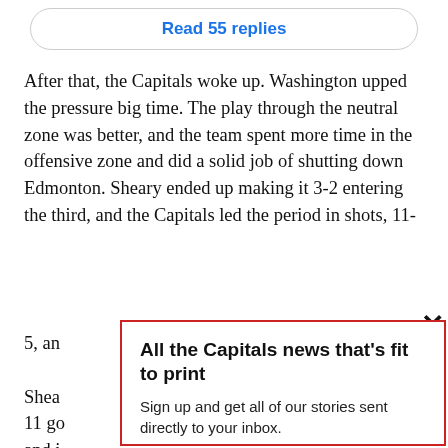Read 55 replies
After that, the Capitals woke up. Washington upped the pressure big time. The play through the neutral zone was better, and the team spent more time in the offensive zone and did a solid job of shutting down Edmonton. Sheary ended up making it 3-2 entering the third, and the Capitals led the period in shots, 11-5, an
Shea... 11 go... and i... high... 2016
All the Capitals news that’s fit to print
Sign up and get all of our stories sent directly to your inbox.
Enter your email here
SIGN UP!
We respect your privacy and take protecting it seriously